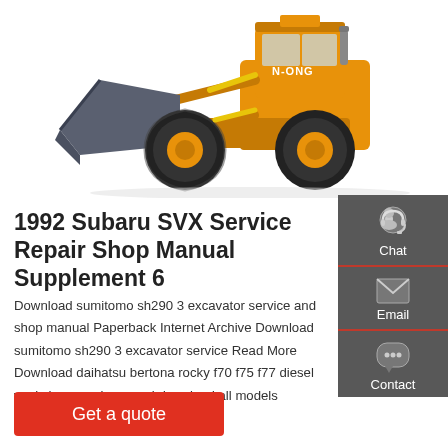[Figure (photo): Orange wheel loader / front-end loader construction machine (branded N-ONG) on white background, viewed from front-left angle showing large bucket and massive tires.]
1992 Subaru SVX Service Repair Shop Manual Supplement 6
Download sumitomo sh290 3 excavator service and shop manual Paperback Internet Archive Download sumitomo sh290 3 excavator service Read More Download daihatsu bertona rocky f70 f75 f77 diesel workshop repair manual download all models covered Paperback
[Figure (infographic): Gray sidebar with three contact icons and labels: Chat (headset icon), Email (envelope icon), Contact (speech bubble icon), separated by red dividers.]
Get a quote